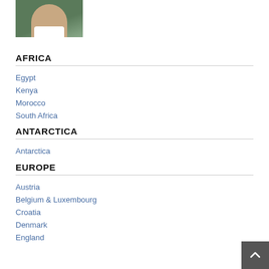[Figure (photo): Portrait photo of a person wearing a white shirt against a green background]
AFRICA
Egypt
Kenya
Morocco
South Africa
ANTARCTICA
Antarctica
EUROPE
Austria
Belgium & Luxembourg
Croatia
Denmark
England